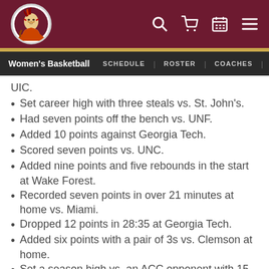Women's Basketball | SCHEDULE | ROSTER | COACHES
UIC.
Set career high with three steals vs. St. John's.
Had seven points off the bench vs. UNF.
Added 10 points against Georgia Tech.
Scored seven points vs. UNC.
Added nine points and five rebounds in the start at Wake Forest.
Recorded seven points in over 21 minutes at home vs. Miami.
Dropped 12 points in 28:35 at Georgia Tech.
Added six points with a pair of 3s vs. Clemson at home.
Set a season high vs. an ACC opponent with 15 points vs. Wake Forest in the ACC Quarterfinals